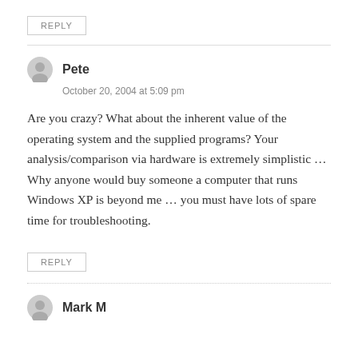REPLY
Pete
October 20, 2004 at 5:09 pm
Are you crazy? What about the inherent value of the operating system and the supplied programs? Your analysis/comparison via hardware is extremely simplistic … Why anyone would buy someone a computer that runs Windows XP is beyond me … you must have lots of spare time for troubleshooting.
REPLY
Mark M